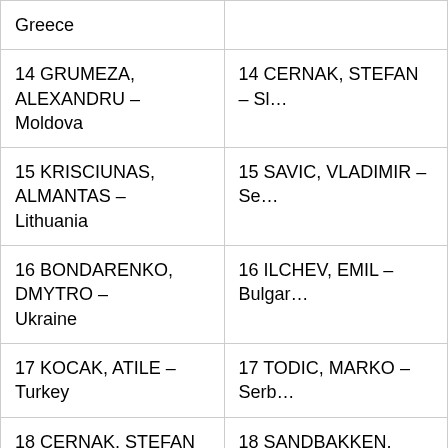| Greece |  |
| 14 GRUMEZA, ALEXANDRU – Moldova | 14 CERNAK, STEFAN – Sl… |
| 15 KRISCIUNAS, ALMANTAS – Lithuania | 15 SAVIC, VLADIMIR – Se… |
| 16 BONDARENKO, DMYTRO – Ukraine | 16 ILCHEV, EMIL – Bulgar… |
| 17 KOCAK, ATILE – Turkey | 17 TODIC, MARKO – Serb… |
| 18 CERNAK, STEFAN – Slovakia | 18 SANDBAKKEN, KNUT BERGAN – Norway |
| 19 DAMAR, ERKAN – Turkey | 19 KOCAK, ATILE – Turke… |
| 20 VESELIC, IVAN – Serbia | 20 AYMERIC, PRADINES – France |